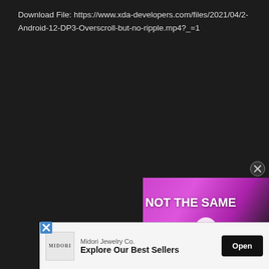Download File: https://www.xda-developers.com/files/2021/04/2-Android-12-DP3-Overscroll-but-no-ripple.mp4?_=1
[Figure (screenshot): Video player thumbnail showing two Samsung Galaxy Z Flip phones on a pink/magenta background with text 'NOT THE SAME' and a play button overlay]
[Figure (screenshot): Advertisement banner for Midori Jewelry Co. with text 'Explore Our Best Sellers' and an 'Open' button]